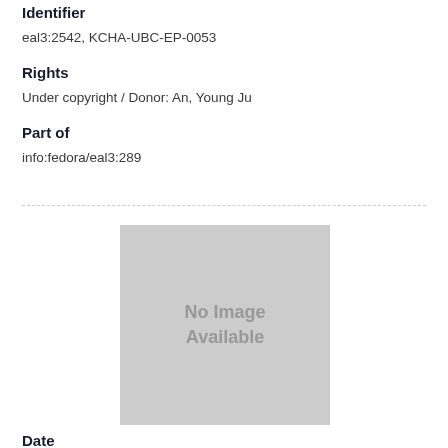Identifier
eal3:2542, KCHA-UBC-EP-0053
Rights
Under copyright / Donor: An, Young Ju
Part of
info:fedora/eal3:289
[Figure (other): Gray placeholder box with text 'No Image Available']
Date